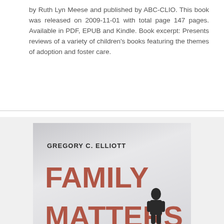by Ruth Lyn Meese and published by ABC-CLIO. This book was released on 2009-11-01 with total page 147 pages. Available in PDF, EPUB and Kindle. Book excerpt: Presents reviews of a variety of children's books featuring the themes of adoption and foster care.
[Figure (illustration): Book cover for 'Family Matters: The Importance of Mattering to Family in Adolescence' by Gregory C. Elliott. Gray gradient background with large red-brown bold title text and a small silhouette figure at the bottom right.]